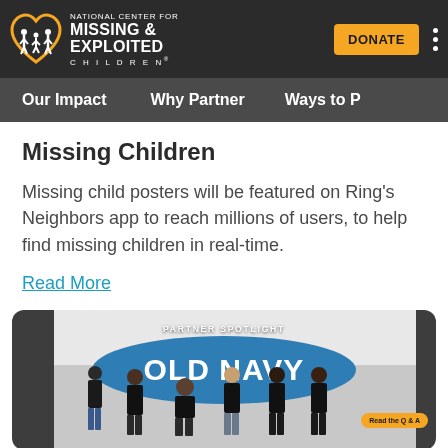National Center for Missing & Exploited Children — DONATE
Our Impact | Why Partner | Ways to P…
Missing Children
Missing child posters will be featured on Ring's Neighbors app to reach millions of users, to help find missing children in real-time.
Read More
[Figure (photo): Partner Spotlight card showing Old Navy logo on a blue oval with a group of people in black t-shirts in front of it. A 'Read the Q & A' badge appears on the right.]